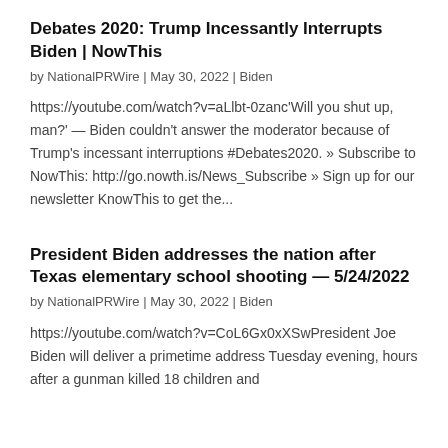Debates 2020: Trump Incessantly Interrupts Biden | NowThis
by NationalPRWire | May 30, 2022 | Biden
https://youtube.com/watch?v=aLlbt-0zanc'Will you shut up, man?' — Biden couldn't answer the moderator because of Trump's incessant interruptions #Debates2020. » Subscribe to NowThis: http://go.nowth.is/News_Subscribe » Sign up for our newsletter KnowThis to get the...
President Biden addresses the nation after Texas elementary school shooting — 5/24/2022
by NationalPRWire | May 30, 2022 | Biden
https://youtube.com/watch?v=CoL6Gx0xXSwPresident Joe Biden will deliver a primetime address Tuesday evening, hours after a gunman killed 18 children and